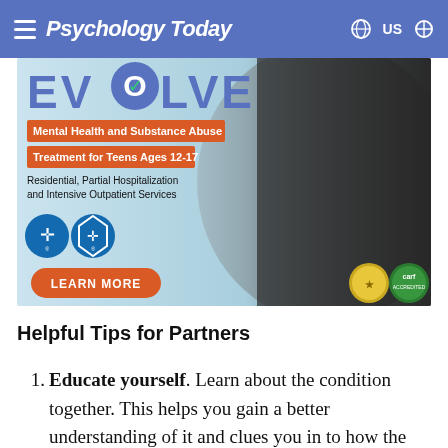Psychology Today — US
[Figure (illustration): EVOLVE advertisement banner: Mental Health and Substance Abuse Treatment for Teens Ages 12-17. Residential, Partial Hospitalization and Intensive Outpatient Services. Blue Cross Blue Shield logos. LEARN MORE button. Young woman in dark hoodie. Gold certification badges.]
Helpful Tips for Partners
Educate yourself. Learn about the condition together. This helps you gain a better understanding of it and clues you in to how the